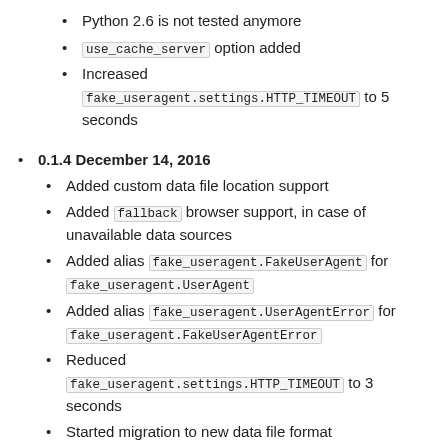Python 2.6 is not tested anymore
use_cache_server option added
Increased fake_useragent.settings.HTTP_TIMEOUT to 5 seconds
0.1.4 December 14, 2016
Added custom data file location support
Added fallback browser support, in case of unavailable data sources
Added alias fake_useragent.FakeUserAgent for fake_useragent.UserAgent
Added alias fake_useragent.UserAgentError for fake_useragent.FakeUserAgentError
Reduced fake_useragent.settings.HTTP_TIMEOUT to 3 seconds
Started migration to new data file format